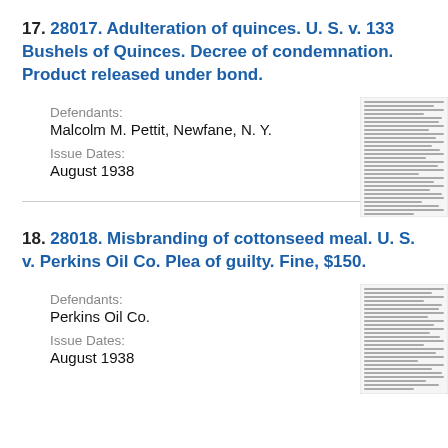17. 28017. Adulteration of quinces. U. S. v. 133 Bushels of Quinces. Decree of condemnation. Product released under bond.
Defendants:
Malcolm M. Pettit, Newfane, N. Y.
Issue Dates:
August 1938
[Figure (other): Thumbnail image of a document page with dense text lines]
18. 28018. Misbranding of cottonseed meal. U. S. v. Perkins Oil Co. Plea of guilty. Fine, $150.
Defendants:
Perkins Oil Co.
Issue Dates:
August 1938
[Figure (other): Thumbnail image of a document page with dense text lines]